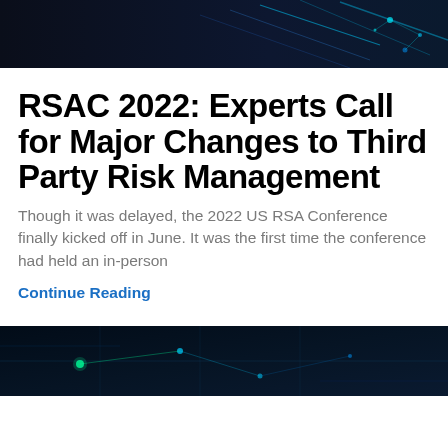[Figure (photo): Dark cybersecurity-themed banner image with blue digital network lines and glowing elements on a dark background]
RSAC 2022: Experts Call for Major Changes to Third Party Risk Management
Though it was delayed, the 2022 US RSA Conference finally kicked off in June. It was the first time the conference had held an in-person
Continue Reading
[Figure (photo): Dark cybersecurity-themed banner image with blue circuit board / network visualization on dark navy background]